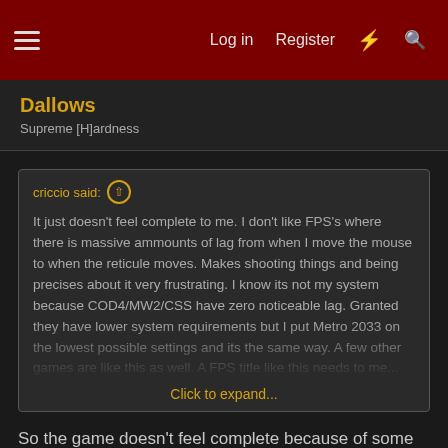Menu | Log in | Register | What's new | Search
Dallows
Supreme [H]ardness
criccio said: ↑

It just doesn't feel complete to me. I don't like FPS's where there is massive ammounts of lag from when I move the mouse to when the reticule moves. Makes shooting things and being precises about it very frustrating. I know its not my system because COD4/MW2/CSS have zero noticeable lag. Granted they have lower system requirements but I put Metro 2033 on the lowest possible settings and its the same way. A few other games are like this as well. A FPS title like this needs to me... Click to expand...
So the game doesn't feel complete because of some aiming issue you have with your own setup's lag?
Just loaded up the game to test this and there's no lag whatsoever for me.